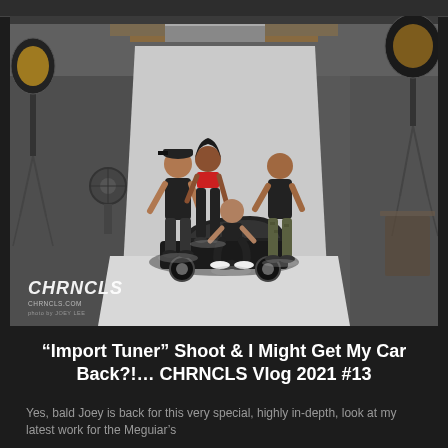[Figure (photo): A professional photo shoot in an industrial garage/studio setting. Four people are posing in front of a black car on a white seamless backdrop. Two professional studio lights on stands flank the scene. On the left is a tall man in a black t-shirt and shorts wearing a cap. In the center is a woman in a red crop top and black shorts. Crouching in front is a man in a black t-shirt. On the right is a man in a black t-shirt and camo shorts. The CHRNCLS logo watermark appears in the lower left of the photo.]
“Import Tuner” Shoot & I Might Get My Car Back?!... CHRNCLS Vlog 2021 #13
Yes, bald Joey is back for this very special, highly in-depth, look at my latest work for the Meguiar’s